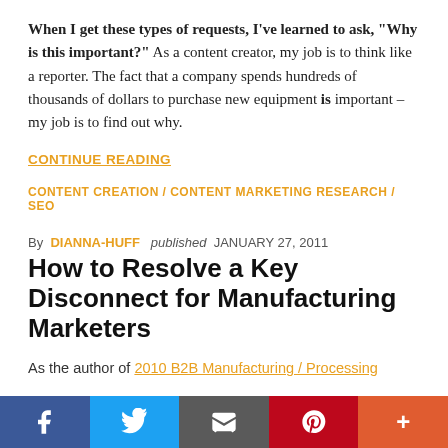When I get these types of requests, I've learned to ask, "Why is this important?" As a content creator, my job is to think like a reporter. The fact that a company spends hundreds of thousands of dollars to purchase new equipment is important – my job is to find out why.
CONTINUE READING
CONTENT CREATION / CONTENT MARKETING RESEARCH / SEO
By DIANNA-HUFF  published  JANUARY 27, 2011
How to Resolve a Key Disconnect for Manufacturing Marketers
As the author of 2010 B2B Manufacturing / Processing